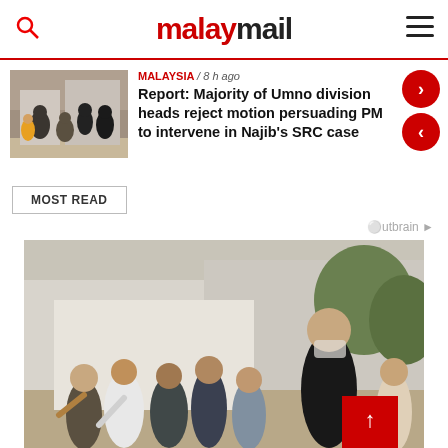malaymail
MALAYSIA / 8 h ago
Report: Majority of Umno division heads reject motion persuading PM to intervene in Najib's SRC case
MOST READ
Outbrain
[Figure (photo): Outdoor scene with crowd of people, some wearing masks, near buildings and trees. Appears to be a video still.]